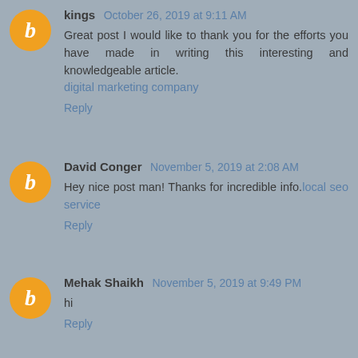kings October 26, 2019 at 9:11 AM
Great post I would like to thank you for the efforts you have made in writing this interesting and knowledgeable article.
digital marketing company
Reply
David Conger November 5, 2019 at 2:08 AM
Hey nice post man! Thanks for incredible info.local seo service
Reply
Mehak Shaikh November 5, 2019 at 9:49 PM
hi
Reply